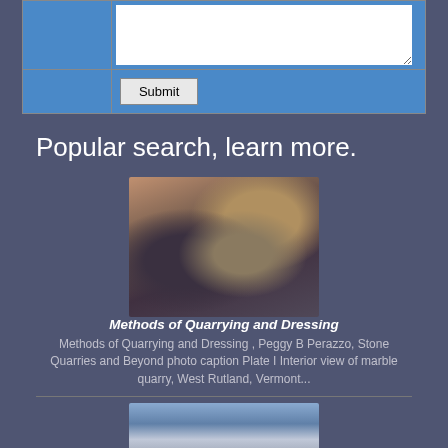[Figure (screenshot): Web form with a textarea input and a Submit button on a blue background]
Popular search, learn more.
[Figure (photo): Close-up photo of a person working on a large stone or metal surface, possibly quarrying or machining]
Methods of Quarrying and Dressing
Methods of Quarrying and Dressing , Peggy B Perazzo, Stone Quarries and Beyond photo caption Plate I Interior view of marble quarry, West Rutland, Vermont...
[Figure (photo): Partial photo of a building interior or exterior, cut off at bottom]